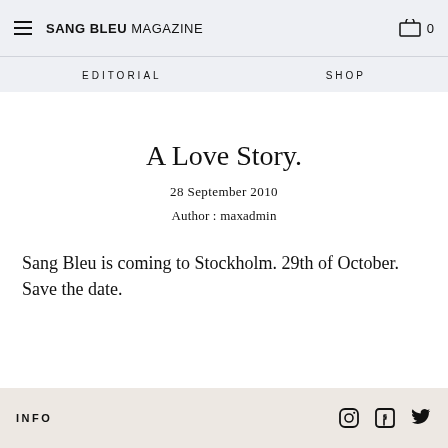SANG BLEU MAGAZINE   EDITORIAL   SHOP   0
A Love Story.
28 September 2010
Author : maxadmin
Sang Bleu is coming to Stockholm. 29th of October. Save the date.
INFO